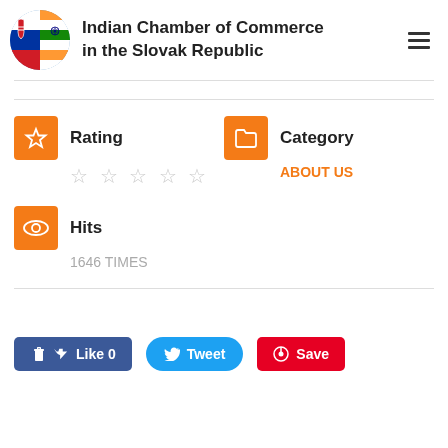Indian Chamber of Commerce in the Slovak Republic
Rating
☆☆☆☆☆
Category
ABOUT US
Hits
1646 TIMES
Like 0   Tweet   Save